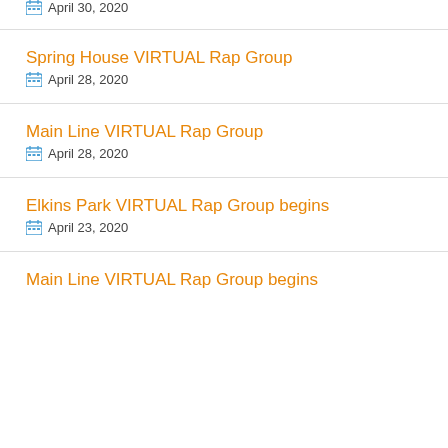April 30, 2020
Spring House VIRTUAL Rap Group
April 28, 2020
Main Line VIRTUAL Rap Group
April 28, 2020
Elkins Park VIRTUAL Rap Group begins
April 23, 2020
Main Line VIRTUAL Rap Group begins